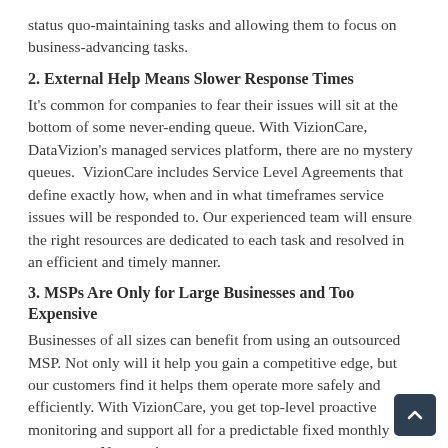status quo-maintaining tasks and allowing them to focus on business-advancing tasks.
2. External Help Means Slower Response Times
It's common for companies to fear their issues will sit at the bottom of some never-ending queue. With VizionCare, DataVizion's managed services platform, there are no mystery queues. VizionCare includes Service Level Agreements that define exactly how, when and in what timeframes service issues will be responded to. Our experienced team will ensure the right resources are dedicated to each task and resolved in an efficient and timely manner.
3. MSPs Are Only for Large Businesses and Too Expensive
Businesses of all sizes can benefit from using an outsourced MSP. Not only will it help you gain a competitive edge, but our customers find it helps them operate more safely and efficiently. With VizionCare, you get top-level proactive monitoring and support all for a predictable fixed monthly agreement. No surprises.